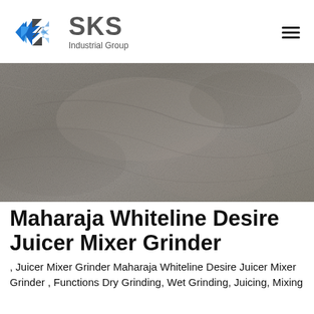[Figure (logo): SKS Industrial Group logo with blue angular S-shape icon and grey SKS text with 'Industrial Group' subtitle]
[Figure (photo): Close-up photo of fine grey powder or ground material with textured surface]
Maharaja Whiteline Desire Juicer Mixer Grinder
, Juicer Mixer Grinder Maharaja Whiteline Desire Juicer Mixer Grinder , Functions Dry Grinding, Wet Grinding, Juicing, Mixing